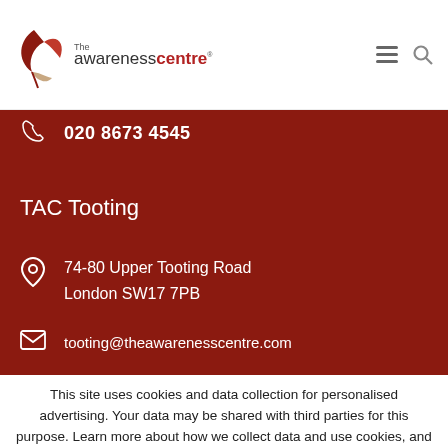The Awareness Centre — navigation header with logo, hamburger menu, and search icon
020 8673 4545
TAC Tooting
74-80 Upper Tooting Road
London SW17 7PB
tooting@theawarenesscentre.com
This site uses cookies and data collection for personalised advertising. Your data may be shared with third parties for this purpose. Learn more about how we collect data and use cookies, and check that you consent. Manage
Preferences | I Consent | Learn more